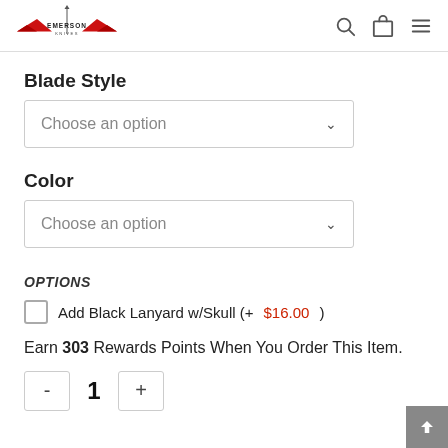[Figure (logo): Emerson Knives logo with red wing shapes and text]
Blade Style
Choose an option
Color
Choose an option
OPTIONS
Add Black Lanyard w/Skull (+$16.00)
Earn 303 Rewards Points When You Order This Item.
1